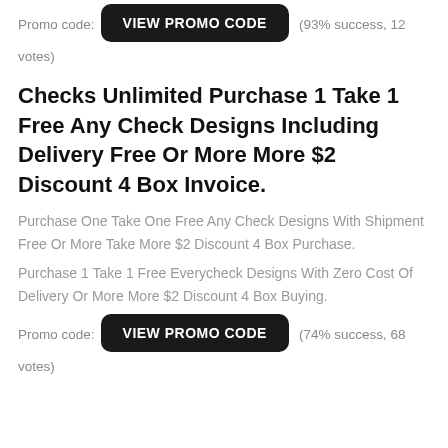Promo code: VIEW PROMO CODE (93% success, 12 votes)
Checks Unlimited Purchase 1 Take 1 Free Any Check Designs Including Delivery Free Or More More $2 Discount 4 Box Invoice.
Purchase One Take One Free Any Check Designs With Shipment Free Or More Take More $2 Discount 4 Box Purchase.
Purchase 1 Take 1 Free Everycheck Designs With Zero Cost Of Delivery Or More More $2 Discount 4 Box Buying.
Promo code: VIEW PROMO CODE (74% success, 68 votes)